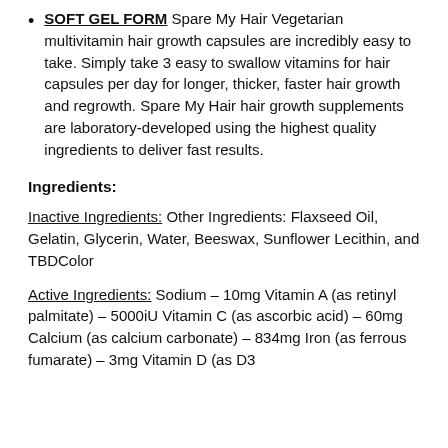SOFT GEL FORM Spare My Hair Vegetarian multivitamin hair growth capsules are incredibly easy to take. Simply take 3 easy to swallow vitamins for hair capsules per day for longer, thicker, faster hair growth and regrowth. Spare My Hair hair growth supplements are laboratory-developed using the highest quality ingredients to deliver fast results.
Ingredients:
Inactive Ingredients: Other Ingredients: Flaxseed Oil, Gelatin, Glycerin, Water, Beeswax, Sunflower Lecithin, and TBDColor
Active Ingredients: Sodium – 10mg Vitamin A (as retinyl palmitate) – 5000iU Vitamin C (as ascorbic acid) – 60mg Calcium (as calcium carbonate) – 834mg Iron (as ferrous fumarate) – 3mg Vitamin D (as D3